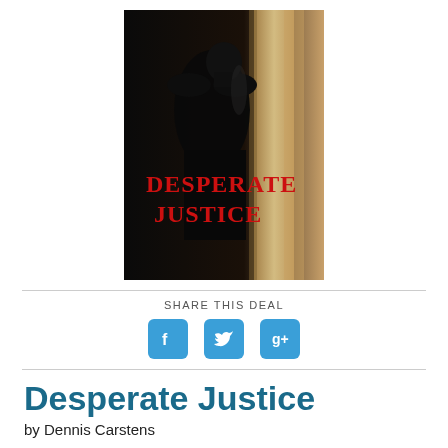[Figure (illustration): Book cover for 'Desperate Justice' showing a man in a dark suit from behind with his face turned, standing near large stone columns. The title 'DESPERATE JUSTICE' is displayed in large red serif letters over a dark background.]
SHARE THIS DEAL
[Figure (infographic): Three social media icon buttons: Facebook (f), Twitter (bird), and Google+ (g+), each in a rounded blue square.]
Desperate Justice
by Dennis Carstens